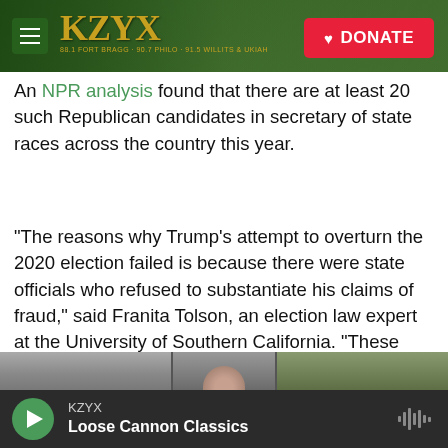[Figure (screenshot): KZYX radio station website header with logo and green donate button on forest background]
An NPR analysis found that there are at least 20 such Republican candidates in secretary of state races across the country this year.
"The reasons why Trump's attempt to overturn the 2020 election failed is because there were state officials who refused to substantiate his claims of fraud," said Franita Tolson, an election law expert at the University of Southern California. "These folks really are gatekeepers."
[Figure (photo): Partially visible photo strip showing a person from the shoulders up against a building backdrop]
KZYX
Loose Cannon Classics